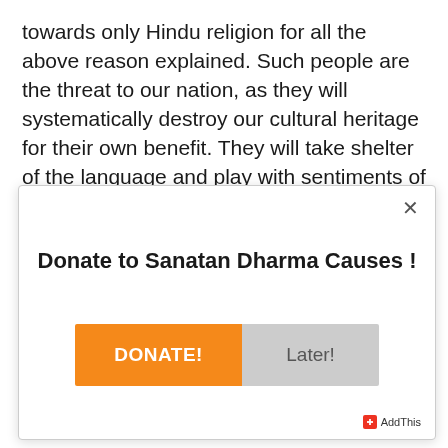towards only Hindu religion for all the above reason explained. Such people are the threat to our nation, as they will systematically destroy our cultural heritage for their own benefit. They will take shelter of the language and play with sentiments of people to sell their concept. This was successfully done by the famous leader who passed away recently.
[Figure (screenshot): Modal dialog box with close button (×), title 'Donate to Sanatan Dharma Causes !', an orange 'DONATE!' button on the left and a gray 'Later!' button on the right, and an AddThis badge at the bottom right.]